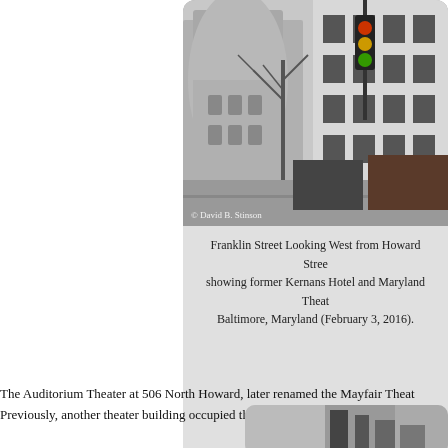[Figure (photo): Street photograph showing Franklin Street looking west from Howard Street, with former Kernans Hotel and Maryland Theatre visible, Baltimore, Maryland (February 3, 2016). Photo credited to David B. Stinson.]
Franklin Street Looking West from Howard Street, showing former Kernans Hotel and Maryland Theatre, Baltimore, Maryland (February 3, 2016).
The Auditorium Theater at 506 North Howard, later renamed the Mayfair Theatre. Previously, another theater building occupied the site.
[Figure (photo): Historical photograph (partially visible) at the bottom of the page showing a theater building.]